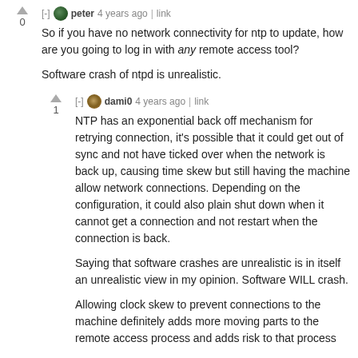[-] peter 4 years ago | link
0
So if you have no network connectivity for ntp to update, how are you going to log in with any remote access tool?

Software crash of ntpd is unrealistic.
[-] dami0 4 years ago | link
1
NTP has an exponential back off mechanism for retrying connection, it's possible that it could get out of sync and not have ticked over when the network is back up, causing time skew but still having the machine allow network connections. Depending on the configuration, it could also plain shut down when it cannot get a connection and not restart when the connection is back.

Saying that software crashes are unrealistic is in itself an unrealistic view in my opinion. Software WILL crash.

Allowing clock skew to prevent connections to the machine definitely adds more moving parts to the remote access process and adds risk to that process